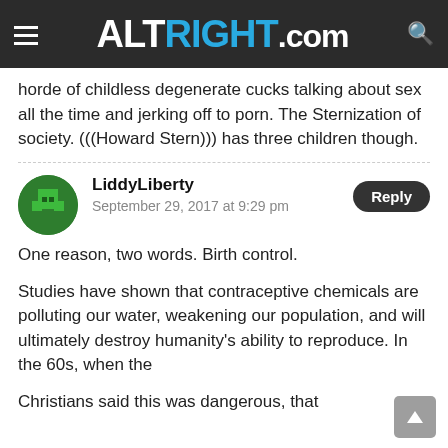ALTRIGHT.COM
horde of childless degenerate cucks talking about sex all the time and jerking off to porn. The Sternization of society. (((Howard Stern))) has three children though.
LiddyLiberty
September 29, 2017 at 9:29 pm
One reason, two words. Birth control.
Studies have shown that contraceptive chemicals are polluting our water, weakening our population, and will ultimately destroy humanity's ability to reproduce. In the 60s, when the
Christians said this was dangerous, that